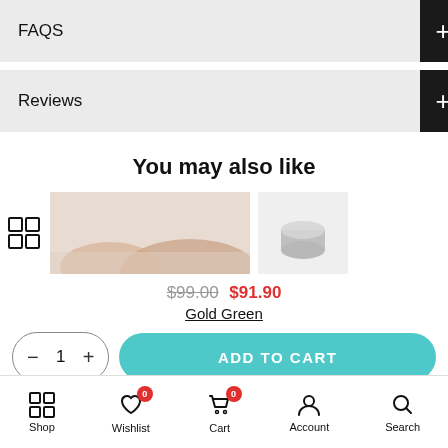FAQS
Reviews
You may also like
[Figure (photo): Product image thumbnail - skin/cosmetic product]
[Figure (photo): Product image thumbnail - small silver/metallic container]
$99.00 $91.90
Gold Green
− 1 + ADD TO CART
Shop  Wishlist 0  Cart 0  Account  Search